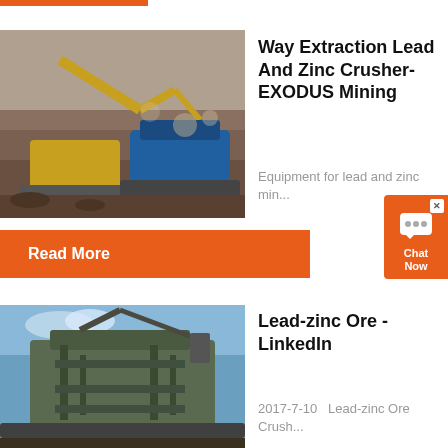[Figure (photo): Orange top navigation bar strip]
[Figure (photo): Mining excavator and crusher equipment at a quarry site]
Way Extraction Lead And Zinc Crusher- EXODUS Mining
Equipment for lead and zinc min...
Read More
[Figure (photo): Lead-zinc ore crushing machinery equipment]
Lead-zinc Ore - LinkedIn
2017-7-10   Lead-zinc Ore Crush...